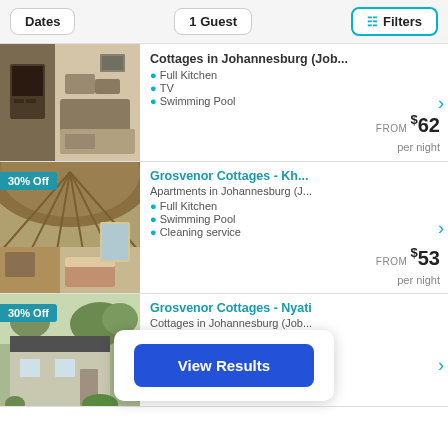Dates | 1 Guest | Filters
Cottages in Johannesburg (Job...) — Full Kitchen, TV, Swimming Pool — FROM $62 per night
Grosvenor Cottages - Kh... Apartments in Johannesburg (J... — Full Kitchen, Swimming Pool, Cleaning service — FROM $53 per night — 30% Off
Grosvenor Cottages - Nyati Cottages in Johannesburg (Job... — 30% Off